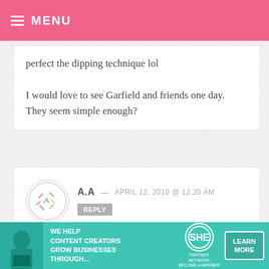MENU
perfect the dipping technique lol

I would love to see Garfield and friends one day. They seem simple enough?
A.A — APRIL 12, 2010 @ 12:20 AM REPLY
DEFINITELY THE SIMPSONS!!!!!!!! YOU NEED THE SIMPSONS CAKE POPS!!!
[Figure (infographic): Ad banner: WE HELP CONTENT CREATORS GROW BUSINESSES THROUGH... SHE PARTNER NETWORK BECOME A MEMBER LEARN MORE]